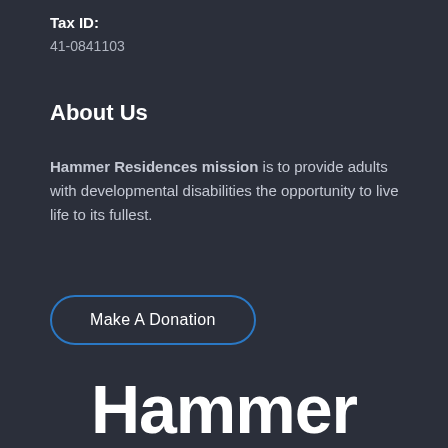Tax ID:
41-0841103
About Us
Hammer Residences mission is to provide adults with developmental disabilities the opportunity to live life to its fullest.
Make A Donation
Hammer